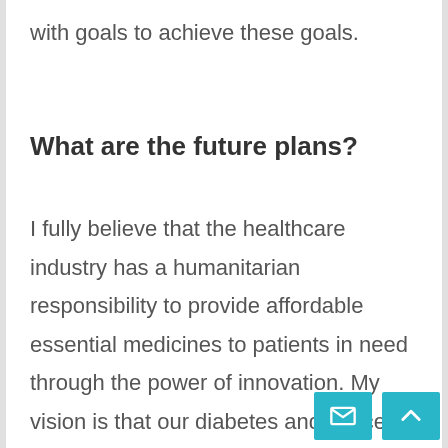with goals to achieve these goals.
What are the future plans?
I fully believe that the healthcare industry has a humanitarian responsibility to provide affordable essential medicines to patients in need through the power of innovation. My vision is that our diabetes and cancer care research program